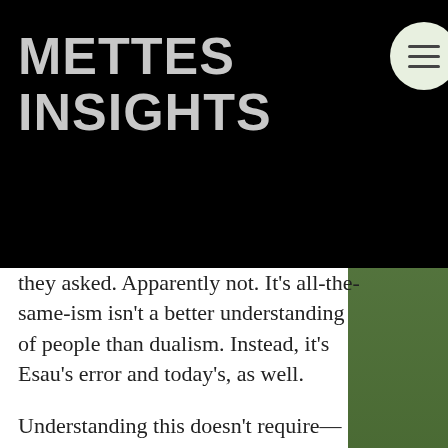METTES INSIGHTS
they asked. Apparently not. It's all-the-same-ism isn't a better understanding of people than dualism. Instead, it's Esau's error and today's, as well.
Understanding this doesn't require—and I won't attempt to make—a list of which parts of a person are spirit and which are hormones, synapses, or anything else. To make things even more complicated, we know that which eating, drinking, and sleeping habits are spiritually damaging, often